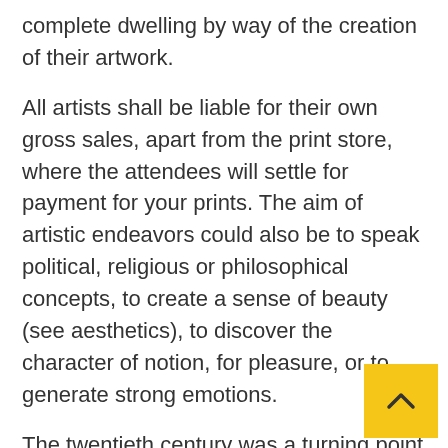complete dwelling by way of the creation of their artwork.
All artists shall be liable for their own gross sales, apart from the print store, where the attendees will settle for payment for your prints. The aim of artistic endeavors could also be to speak political, religious or philosophical concepts, to create a sense of beauty (see aesthetics), to discover the character of notion, for pleasure, or to generate strong emotions.
The twentieth century was a turning point in our conception of art, which is especially why modern artists incessantly attain for brand new concepts, break with custom and reject classic notions of magnificence. Artists could categorical something so that their audience is stimulated not directlyâ€“creating emotions, religious religion, curiosity, curiosity, identification with a group, recollections, ideas, or creativity.
Though a really attention-grabbing factor concerning the subject is what Trotsky have to say, with the concept of